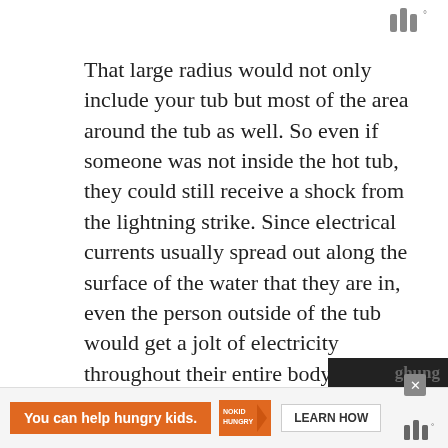That large radius would not only include your tub but most of the area around the tub as well. So even if someone was not inside the hot tub, they could still receive a shock from the lightning strike. Since electrical currents usually spread out along the surface of the water that they are in, even the person outside of the tub would get a jolt of electricity throughout their entire body.
According to the National Weather
[Figure (screenshot): Orange advertisement banner: 'You can help hungry kids.' with No Kid Hungry logo and LEARN HOW button. Close X button visible.]